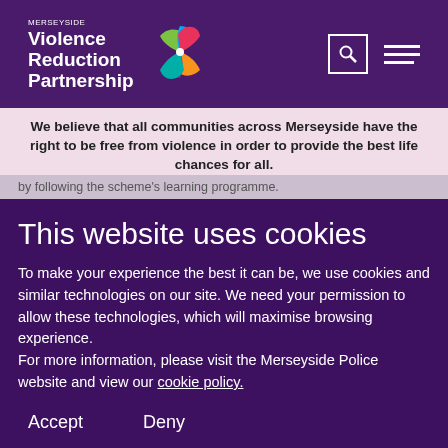[Figure (logo): Merseyside Violence Reduction Partnership logo with colorful pinwheel and text]
We believe that all communities across Merseyside have the right to be free from violence in order to provide the best life chances for all.
by following the scheme's learning programme.
This website uses cookies
To make your experience the best it can be, we use cookies and similar technologies on our site. We need your permission to allow these technologies, which will maximise browsing experience.
For more information, please visit the Merseyside Police website and view our cookie policy.
Accept
Deny